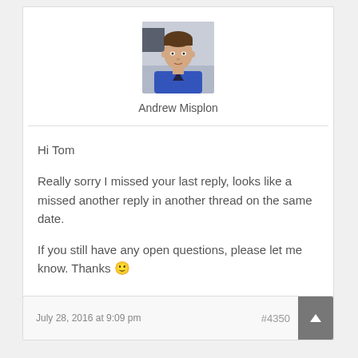[Figure (photo): Profile photo of Andrew Misplon, a man in a blue top]
Andrew Misplon
Hi Tom

Really sorry I missed your last reply, looks like a missed another reply in another thread on the same date.

If you still have any open questions, please let me know. Thanks 🙂
July 28, 2016 at 9:09 pm  #4350